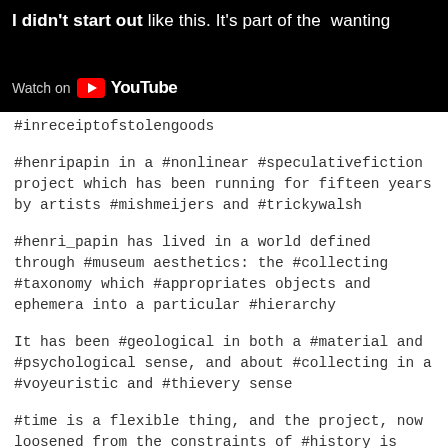[Figure (screenshot): YouTube video banner with dark background showing partial text 'I didn't start out like this. It's part of the wanting' and a 'Watch on YouTube' button with YouTube logo.]
#inreceiptofstolengoods
#henripapin in a #nonlinear #speculativefiction project which has been running for fifteen years by artists #mishmeijers and #trickywalsh
#henri_papin has lived in a world defined through #museum aesthetics: the #collecting #taxonomy which #appropriates objects and ephemera into a particular #hierarchy
It has been #geological in both a #material and #psychological sense, and about #collecting in a #voyeuristic and #thievery sense
#time is a flexible thing, and the project, now loosened from the constraints of #history is allowing a sort of #slippage or #unpeeling of the character and their relationship to the world.